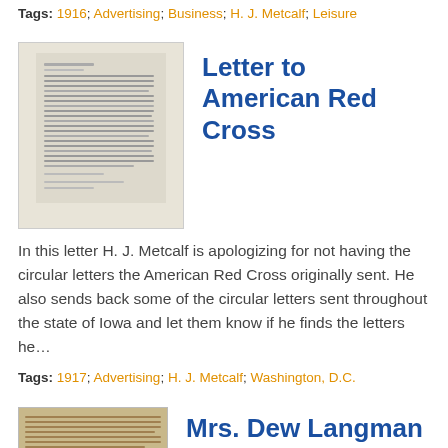Tags: 1916; Advertising; Business; H. J. Metcalf; Leisure
[Figure (photo): Thumbnail image of a typed letter document]
Letter to American Red Cross
In this letter H. J. Metcalf is apologizing for not having the circular letters the American Red Cross originally sent. He also sends back some of the circular letters sent throughout the state of Iowa and let them know if he finds the letters he…
Tags: 1917; Advertising; H. J. Metcalf; Washington, D.C.
[Figure (photo): Thumbnail image of a handwritten or aged document]
Mrs. Dew Langman